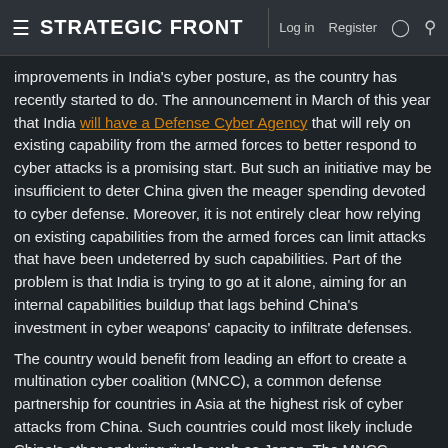STRATEGIC FRONT | Log in  Register
improvements in India's cyber posture, as the country has recently started to do. The announcement in March of this year that India will have a Defense Cyber Agency that will rely on existing capability from the armed forces to better respond to cyber attacks is a promising start. But such an initiative may be insufficient to deter China given the meager spending devoted to cyber defense. Moreover, it is not entirely clear how relying on existing capabilities from the armed forces can limit attacks that have been undeterred by such capabilities. Part of the problem is that India is trying to go at it alone, aiming for an internal capabilities buildup that lags behind China's investment in cyber weapons' capacity to infiltrate defenses.
The country would benefit from leading an effort to create a multination cyber coalition (MNCC), a common defense partnership for countries in Asia at the highest risk of cyber attacks from China. Such countries could most likely include China's other enduring rivals such as Japan. The MNCC countries would harness their collective cyber capabilities and knowledge to better identify and respond to cyber attacks. Such an initiative could resemble NATO's approach to cyber defense more so than